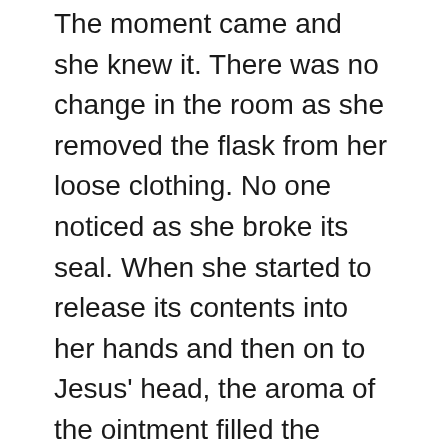The moment came and she knew it. There was no change in the room as she removed the flask from her loose clothing. No one noticed as she broke its seal. When she started to release its contents into her hands and then on to Jesus' head, the aroma of the ointment filled the house. Silence stole over the room as Jesus smiled at her with tears in His soft eyes. He knew what she was doing.
The Twelve did not smile. This was a waste of a valuable commodity. Someone, Judas probably, did the math and announced what a blessing this could have been to the poor.